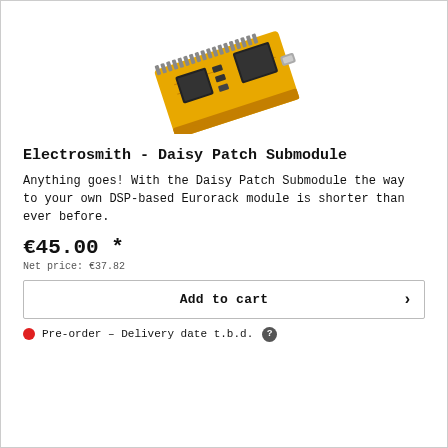[Figure (photo): Photo of the Electrosmith Daisy Patch Submodule — a small yellow PCB with electronic components including chips, pins, and connectors, shown at an angle.]
Electrosmith - Daisy Patch Submodule
Anything goes! With the Daisy Patch Submodule the way to your own DSP-based Eurorack module is shorter than ever before.
€45.00 *
Net price: €37.82
Add to cart
Pre-order – Delivery date t.b.d.